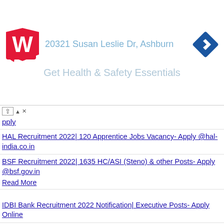[Figure (advertisement): Walgreens ad banner showing red W logo, address '20321 Susan Leslie Dr, Ashburn', navigation diamond icon, and text 'Get Health & Safety Essentials']
apply
HAL Recruitment 2022| 120 Apprentice Jobs Vacancy- Apply @hal-india.co.in
BSF Recruitment 2022| 1635 HC/ASI (Steno) & other Posts- Apply @bsf.gov.in
Read More
IDBI Bank Recruitment 2022 Notification| Executive Posts- Apply Online
SGBAU Time Table 2022 (Summer) UG, PG Examination Date Sheet – Download PDF
Shekhawati University Time Table 2022| PDUSU BA B.Ed/B.Sc